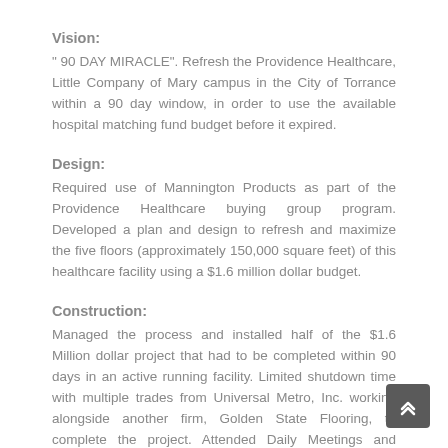Vision:
" 90 DAY MIRACLE". Refresh the Providence Healthcare, Little Company of Mary campus in the City of Torrance within a 90 day window, in order to use the available hospital matching fund budget before it expired.
Design:
Required use of Mannington Products as part of the Providence Healthcare buying group program. Developed a plan and design to refresh and maximize the five floors (approximately 150,000 square feet) of this healthcare facility using a $1.6 million dollar budget.
Construction:
Managed the process and installed half of the $1.6 Million dollar project that had to be completed within 90 days in an active running facility. Limited shutdown time with multiple trades from Universal Metro, Inc. working alongside another firm, Golden State Flooring, to complete the project. Attended Daily Meetings and Weekly Strategy Meetings.